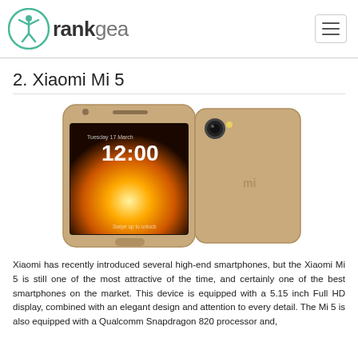rankgea
2. Xiaomi Mi 5
[Figure (photo): Front and back view of Xiaomi Mi 5 smartphone in gold color. The front shows the screen displaying 12:00, and the back shows the Mi logo.]
Xiaomi has recently introduced several high-end smartphones, but the Xiaomi Mi 5 is still one of the most attractive of the time, and certainly one of the best smartphones on the market. This device is equipped with a 5.15 inch Full HD display, combined with an elegant design and attention to every detail. The Mi 5 is also equipped with a Qualcomm Snapdragon 820 processor and,